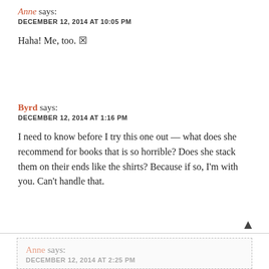Anne says:
DECEMBER 12, 2014 AT 10:05 PM
Haha! Me, too. 🙂
Byrd says:
DECEMBER 12, 2014 AT 1:16 PM
I need to know before I try this one out — what does she recommend for books that is so horrible? Does she stack them on their ends like the shirts? Because if so, I'm with you. Can't handle that.
Anne says:
DECEMBER 12, 2014 AT 2:25 PM